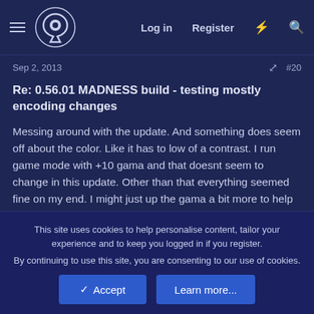Log in  Register  [lightning icon]  [search icon]
Sep 2, 2013  #20
Re: 0.56.01 MADNESS build - testing mostly encoding changes
Messing around with the update. And something does seem off about the color. Like it has to low of a contrast. I run game mode with +10 gama and that doesnt seem to change in this update. Other than that everything seemed fine on my end. I might just up the gama a bit more to help brighten up shadows and such.
This site uses cookies to help personalise content, tailor your experience and to keep you logged in if you register.
By continuing to use this site, you are consenting to our use of cookies.
✓ Accept    Learn more...